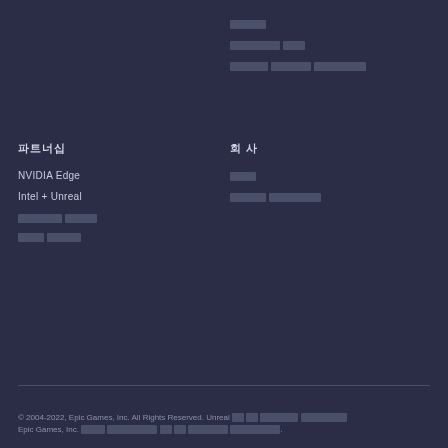[redacted]
[redacted] [redacted]
[redacted] [redacted] [redacted]
파트너십
회사
NVIDIA Edge
[redacted]
Intel + Unreal
[redacted] [redacted]
[redacted] [redacted]
[redacted] [redacted]
© 2004-2022, Epic Games, Inc. All Rights Reserved. Unreal [redacted] Epic Games, Inc. [redacted]